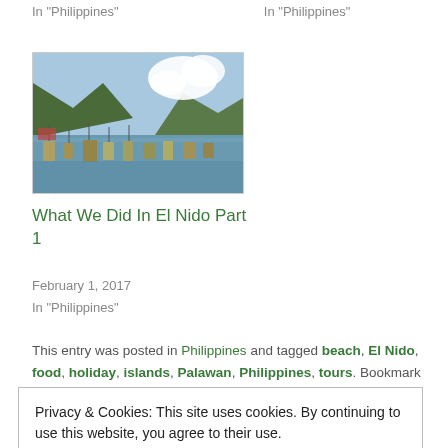In "Philippines"
In "Philippines"
[Figure (photo): Harbor scene with many boats on blue water, mountains and clouds in background — El Nido, Philippines]
What We Did In El Nido Part 1
February 1, 2017
In "Philippines"
This entry was posted in Philippines and tagged beach, El Nido, food, holiday, islands, Palawan, Philippines, tours. Bookmark the permalink.
Privacy & Cookies: This site uses cookies. By continuing to use this website, you agree to their use.
To find out more, including how to control cookies, see here: Cookie Policy